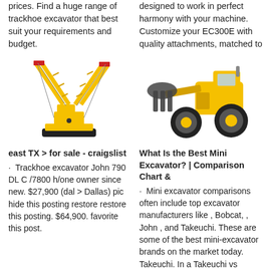prices. Find a huge range of trackhoe excavator that best suit your requirements and budget.
designed to work in perfect harmony with your machine. Customize your EC300E with quality attachments, matched to
[Figure (photo): Yellow lattice boom crawler crane toy/model with red accents]
[Figure (photo): Large yellow wheel loader with log grapple attachment]
east TX > for sale - craigslist
· Trackhoe excavator John 790 DL C /7800 h/one owner since new. $27,900 (dal > Dallas) pic hide this posting restore restore this posting. $64,900. favorite this post.
What Is the Best Mini Excavator? | Comparison Chart &
· Mini excavator comparisons often include top excavator manufacturers like , Bobcat, , John , and Takeuchi. These are some of the best mini-excavator brands on the market today. Takeuchi. In a Takeuchi vs